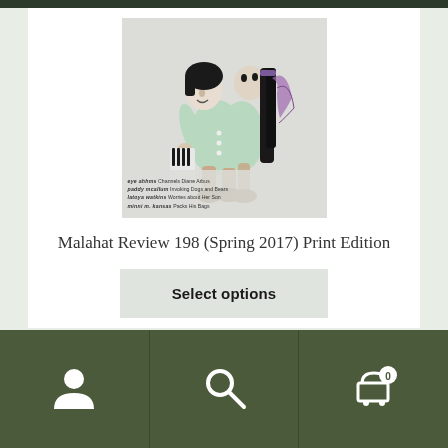[Figure (illustration): Cover of Malahat Review 198 (Spring 2017) showing a stylized illustration of two figures dancing or embracing, with black hair, mint/green clothing, and purple accents. Below the illustration are contributor names and story titles.]
Malahat Review 198 (Spring 2017) Print Edition
Select options
Navigation bar with user icon, search icon, and cart icon (0 items)